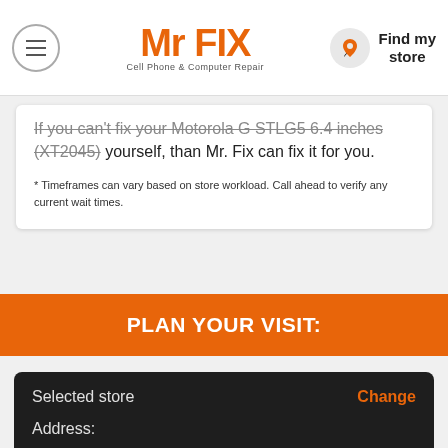Mr FIX - Cell Phone & Computer Repair | Find my store
If you can't fix your Motorola G STLG5 6.4 inches (XT2045) yourself, than Mr. Fix can fix it for you.
* Timeframes can vary based on store workload. Call ahead to verify any current wait times.
PLAN YOUR VISIT:
Selected store
Change
Address:
Phone:
Visit store page